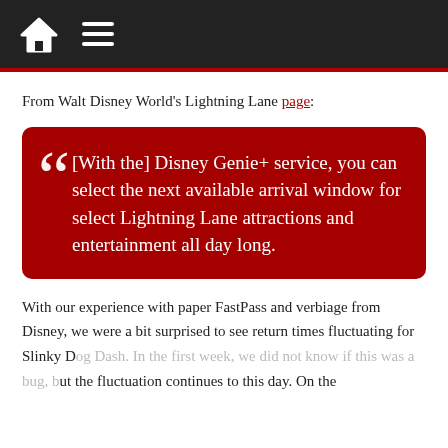Navigation bar with home icon and hamburger menu
From Walt Disney World's Lightning Lane page:
[With the] Disney Genie+ service, you can select the next available arrival window for select Lightning Lane attractions and entertainment all day long.
With our experience with paper FastPass and verbiage from Disney, we were a bit surprised to see return times fluctuating for Slinky Dog Dash. In the first week, we did not know if this was a bug, but the fluctuation continues to this day. On the